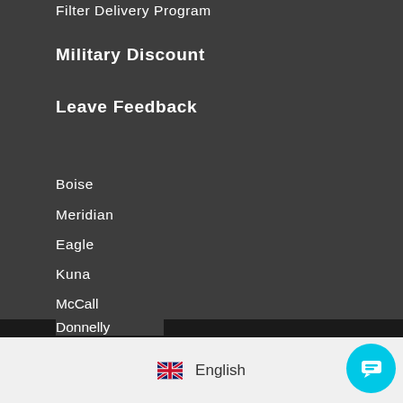Filter Delivery Program
Military Discount
Leave Feedback
Boise
Meridian
Eagle
Kuna
McCall
Donnelly
Cascade
English